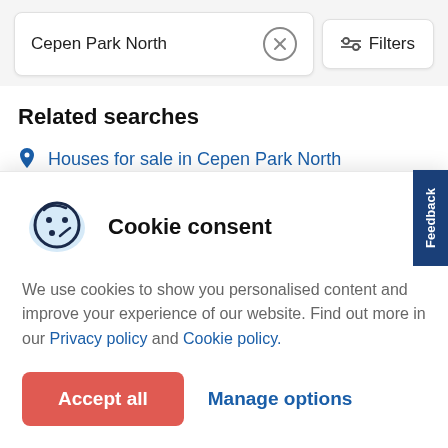Cepen Park North
Related searches
Houses for sale in Cepen Park North
Cookie consent
We use cookies to show you personalised content and improve your experience of our website. Find out more in our Privacy policy and Cookie policy.
Accept all
Manage options
Feedback